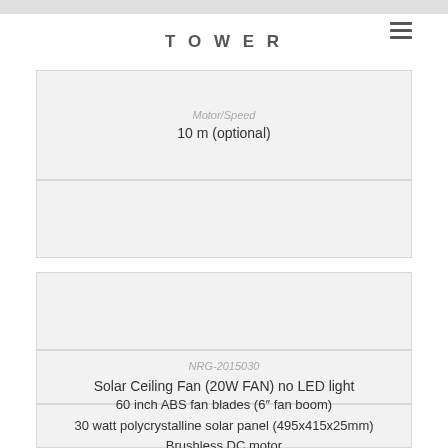TOWER
Motor/Speed
10 m (optional)
NRG-2015030
Solar Ceiling Fan (20W FAN) no LED light
60 inch ABS fan blades (6" fan boom)
30 watt polycrystalline solar panel (495x415x25mm)
Brushless DC motor